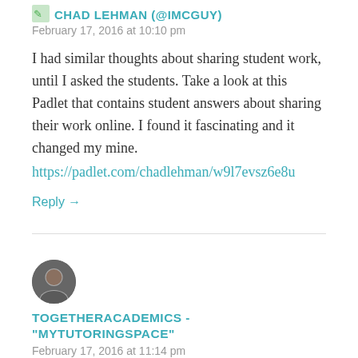CHAD LEHMAN (@IMCGUY)
February 17, 2016 at 10:10 pm
I had similar thoughts about sharing student work, until I asked the students. Take a look at this Padlet that contains student answers about sharing their work online. I found it fascinating and it changed my mine.
https://padlet.com/chadlehman/w9l7evsz6e8u
Reply →
[Figure (photo): Avatar photo of second commenter]
TOGETHERACADEMICS - "MYTUTORINGSPACE"
February 17, 2016 at 11:14 pm